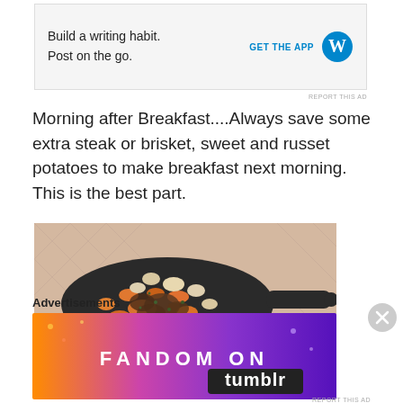[Figure (screenshot): WordPress advertisement banner: 'Build a writing habit. Post on the go.' with GET THE APP text and WordPress logo]
Morning after Breakfast....Always save some extra steak or brisket, sweet and russet potatoes to make breakfast next morning.  This is the best part.
[Figure (photo): Overhead photo of a cast iron skillet containing a breakfast hash with diced sweet potatoes, russet potatoes, brisket/steak, and herbs, on a patterned tablecloth]
Advertisements
[Figure (screenshot): Fandom on Tumblr advertisement banner with colorful purple, orange, and red gradient background with decorative icons]